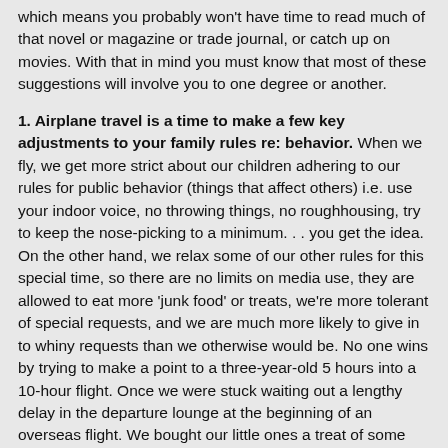which means you probably won't have time to read much of that novel or magazine or trade journal, or catch up on movies. With that in mind you must know that most of these suggestions will involve you to one degree or another.
1. Airplane travel is a time to make a few key adjustments to your family rules re: behavior. When we fly, we get more strict about our children adhering to our rules for public behavior (things that affect others) i.e. use your indoor voice, no throwing things, no roughhousing, try to keep the nose-picking to a minimum. . . you get the idea. On the other hand, we relax some of our other rules for this special time, so there are no limits on media use, they are allowed to eat more 'junk food' or treats, we're more tolerant of special requests, and we are much more likely to give in to whiny requests than we otherwise would be. No one wins by trying to make a point to a three-year-old 5 hours into a 10-hour flight. Once we were stuck waiting out a lengthy delay in the departure lounge at the beginning of an overseas flight. We bought our little ones a treat of some ice-cream bonbons, and at the end of the box our son started to get into a first class freak-out that he hadn't gotten his fair share. Normally he would've been out of luck, but in that special